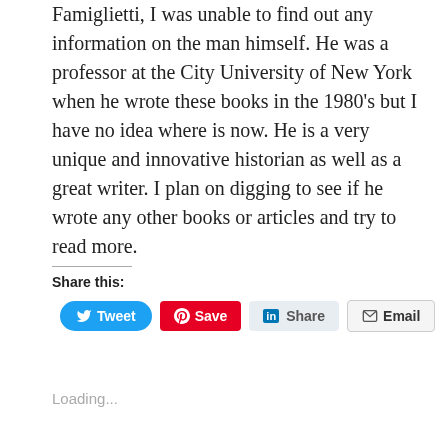Famiglietti, I was unable to find out any information on the man himself. He was a professor at the City University of New York when he wrote these books in the 1980's but I have no idea where is now. He is a very unique and innovative historian as well as a great writer. I plan on digging to see if he wrote any other books or articles and try to read more.
Share this:
[Figure (other): Social sharing buttons: Tweet (Twitter, blue), Save (Pinterest, red), Share (LinkedIn, light grey), Email (grey outlined)]
Loading...